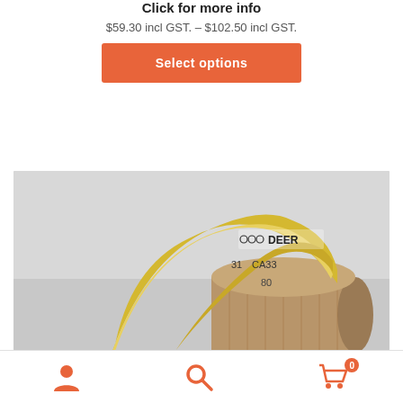Click for more info
$59.30 incl GST. – $102.50 incl GST.
Select options
[Figure (photo): A roll of yellow abrasive sandpaper/sanding belt with DEER brand markings, showing CA33 and 80 grit labels, photographed on a light grey background.]
[Figure (infographic): Bottom navigation bar with user/account icon, search icon, and shopping cart icon with badge showing 0]